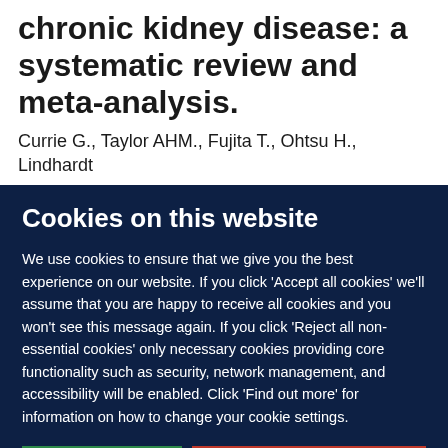chronic kidney disease: a systematic review and meta-analysis.
Currie G., Taylor AHM., Fujita T., Ohtsu H., Lindhardt
Cookies on this website
We use cookies to ensure that we give you the best experience on our website. If you click 'Accept all cookies' we'll assume that you are happy to receive all cookies and you won't see this message again. If you click 'Reject all non-essential cookies' only necessary cookies providing core functionality such as security, network management, and accessibility will be enabled. Click 'Find out more' for information on how to change your cookie settings.